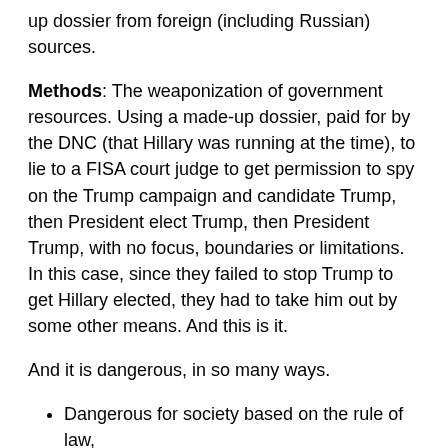up dossier from foreign (including Russian) sources.
Methods: The weaponization of government resources. Using a made-up dossier, paid for by the DNC (that Hillary was running at the time), to lie to a FISA court judge to get permission to spy on the Trump campaign and candidate Trump, then President elect Trump, then President Trump, with no focus, boundaries or limitations. In this case, since they failed to stop Trump to get Hillary elected, they had to take him out by some other means. And this is it.
And it is dangerous, in so many ways.
Dangerous for society based on the rule of law,
the 4th Amendment of the Constitution,
the victims of their sting,
and especially dangerous for Democrats.
Funny how the only Russian collusion anyone knows about is